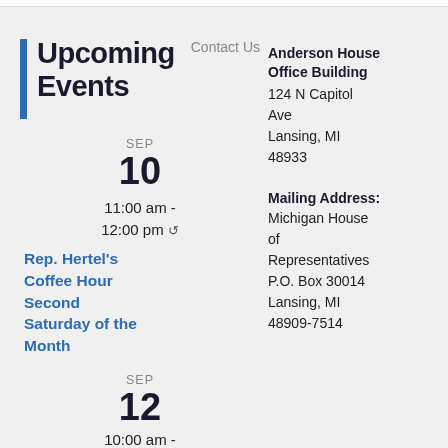Upcoming Events
Contact Us
SEP
10
11:00 am - 12:00 pm
Rep. Hertel's Coffee Hour Second Saturday of the Month
Anderson House Office Building
124 N Capitol Ave
Lansing, MI 48933
SEP
12
10:00 am -
Mailing Address:
Michigan House of Representatives
P.O. Box 30014
Lansing, MI 48909-7514